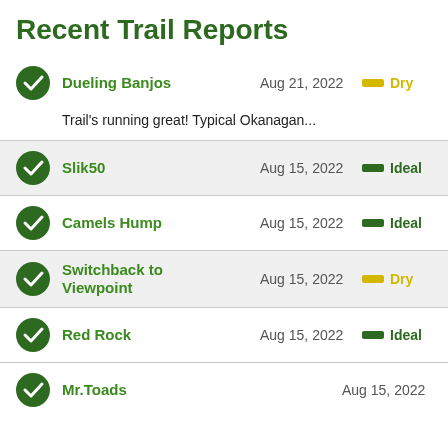Recent Trail Reports
Dueling Banjos | Aug 21, 2022 | Dry
Trail's running great! Typical Okanagan...
Slik50 | Aug 15, 2022 | Ideal
Camels Hump | Aug 15, 2022 | Ideal
Switchback to Viewpoint | Aug 15, 2022 | Dry
Red Rock | Aug 15, 2022 | Ideal
Mr.Toads | Aug 15, 2022